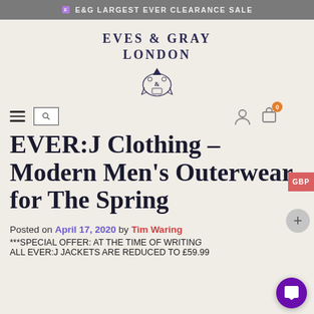E&G LARGEST EVER CLEARANCE SALE
[Figure (logo): Eves & Gray London logo with crest emblem]
EVER:J Clothing – Modern Men's Outerwear for The Spring
Posted on April 17, 2020 by Tim Waring
***SPECIAL OFFER: AT THE TIME OF WRITING ALL EVER:J JACKETS ARE REDUCED TO £59.99